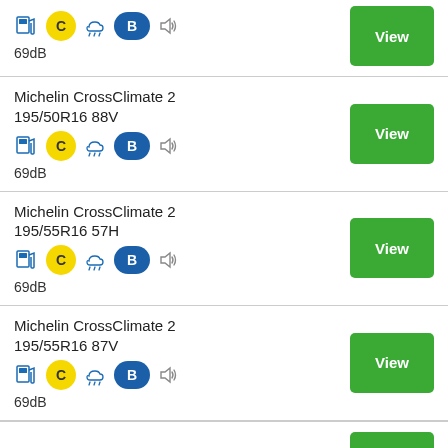Michelin CrossClimate 2 195/50R16 88V — 69dB — View
Michelin CrossClimate 2 195/55R16 57H — 69dB — View
Michelin CrossClimate 2 195/55R16 87V — 69dB — View
Michelin CrossClimate 2 — View (partial)